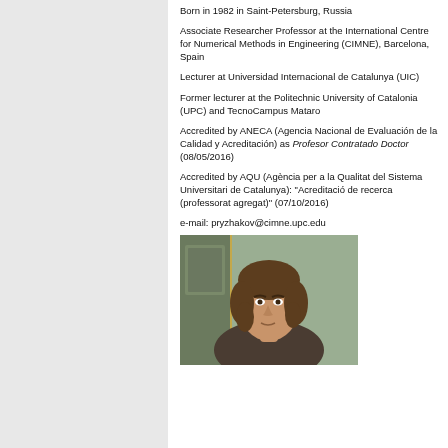Born in 1982 in Saint-Petersburg, Russia
Associate Researcher Professor at the International Centre for Numerical Methods in Engineering (CIMNE), Barcelona, Spain
Lecturer at Universidad Internacional de Catalunya (UIC)
Former lecturer at the Politechnic University of Catalonia (UPC) and TecnoCampus Mataro
Accredited by ANECA (Agencia Nacional de Evaluación de la Calidad y Acreditación) as Profesor Contratado Doctor (08/05/2016)
Accredited by AQU (Agència per a la Qualitat del Sistema Universitari de Catalunya): "Acreditació de recerca (professorat agregat)" (07/10/2016)
e-mail: pryzhakov@cimne.upc.edu
[Figure (photo): Portrait photo of Pavel Borisovich Ryzhakov, a man with medium-length brown hair]